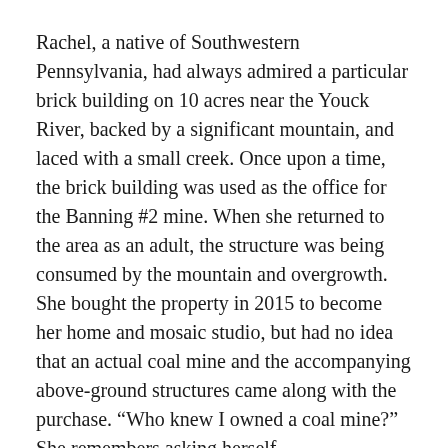Rachel, a native of Southwestern Pennsylvania, had always admired a particular brick building on 10 acres near the Youck River, backed by a significant mountain, and laced with a small creek. Once upon a time, the brick building was used as the office for the Banning #2 mine. When she returned to the area as an adult, the structure was being consumed by the mountain and overgrowth. She bought the property in 2015 to become her home and mosaic studio, but had no idea that an actual coal mine and the accompanying above-ground structures came along with the purchase. “Who knew I owned a coal mine?” She remembers asking herself.
Banning #2 was mined for the high quality bituminous coal for which Southwestern Pennsylvania was so famous at the turn of the